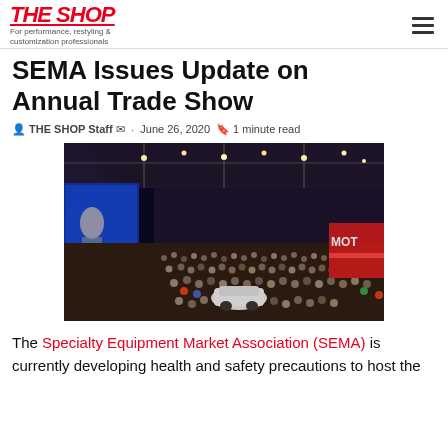THE SHOP — For performance, restyling & customization professionals
SEMA Issues Update on Annual Trade Show
THE SHOP Staff · June 26, 2020 · 1 minute read
[Figure (photo): Wide-angle aerial view of a large crowded trade show floor inside a convention center with blue stage lighting, large screens, and thousands of attendees.]
The Specialty Equipment Market Association (SEMA) is currently developing health and safety precautions to host the